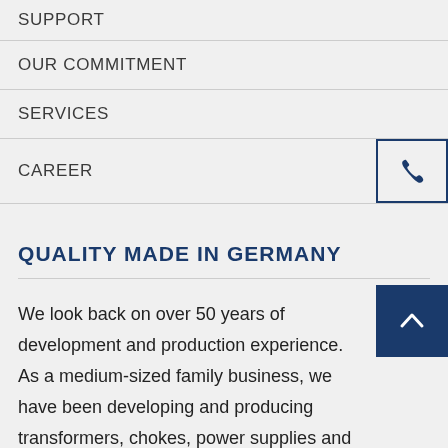SUPPORT
OUR COMMITMENT
SERVICES
CAREER
QUALITY MADE IN GERMANY
We look back on over 50 years of development and production experience. As a medium-sized family business, we have been developing and producing transformers, chokes, power supplies and other